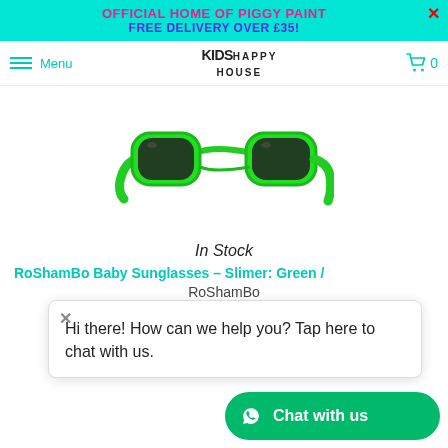OFFICIAL HOME OF PIGGY PAINT
FREE DELIVERY OVER £35!
[Figure (logo): KIDS HAPPY HOUSE logo in center of navigation bar]
[Figure (photo): Green children's RoShamBo baby sunglasses - Slimer style with green frame and dark lenses]
In Stock
RoShamBo Baby Sunglasses - Slimer: Green /
Hi there! How can we help you? Tap here to chat with us.
RoShamBo
£19.99